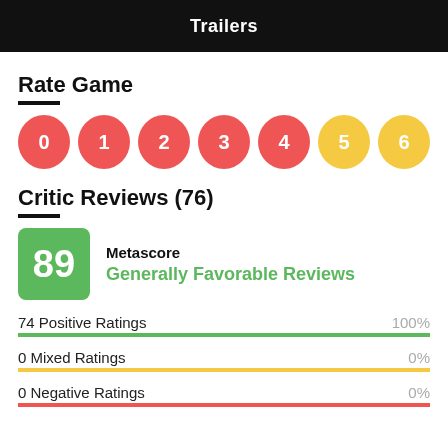Trailers
Rate Game
[Figure (infographic): A row of colored rating circles numbered 0 through 6. Circles 0-4 are red, circles 5-6 are yellow.]
Critic Reviews (76)
[Figure (infographic): Metascore box showing 89 in green, with label 'Metascore' and text 'Generally Favorable Reviews' in green.]
74 Positive Ratings   100%
0 Mixed Ratings   0%
0 Negative Ratings   0%